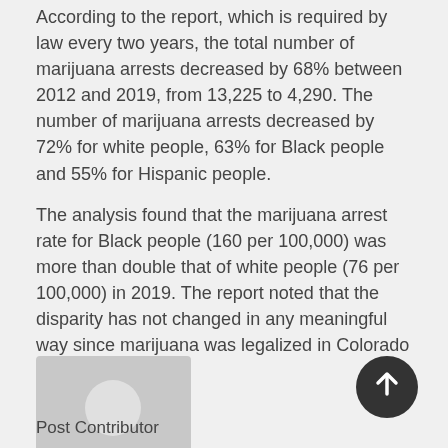According to the report, which is required by law every two years, the total number of marijuana arrests decreased by 68% between 2012 and 2019, from 13,225 to 4,290. The number of marijuana arrests decreased by 72% for white people, 63% for Black people and 55% for Hispanic people.
The analysis found that the marijuana arrest rate for Black people (160 per 100,000) was more than double that of white people (76 per 100,000) in 2019. The report noted that the disparity has not changed in any meaningful way since marijuana was legalized in Colorado in 2012.
[Figure (illustration): Generic user/author avatar placeholder — grey silhouette of a person on a light grey background]
Post Contributor